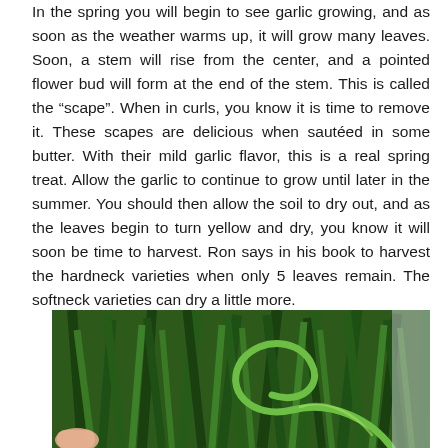In the spring you will begin to see garlic growing, and as soon as the weather warms up, it will grow many leaves. Soon, a stem will rise from the center, and a pointed flower bud will form at the end of the stem. This is called the “scape”. When in curls, you know it is time to remove it. These scapes are delicious when sautéed in some butter. With their mild garlic flavor, this is a real spring treat. Allow the garlic to continue to grow until later in the summer. You should then allow the soil to dry out, and as the leaves begin to turn yellow and dry, you know it will soon be time to harvest. Ron says in his book to harvest the hardneck varieties when only 5 leaves remain. The softneck varieties can dry a little more.
[Figure (photo): Close-up photo of garlic scapes — curling green stems — with garlic leaves in the background.]